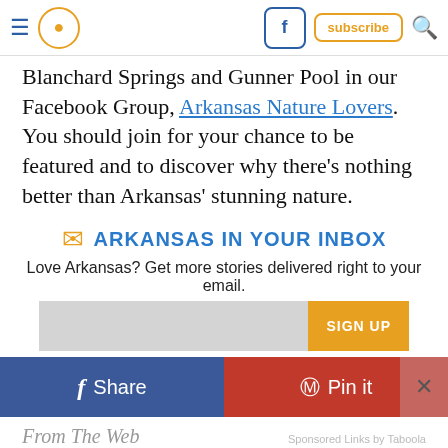navigation header with menu, pin icon, Facebook, subscribe, search
Blanchard Springs and Gunner Pool in our Facebook Group, Arkansas Nature Lovers. You should join for your chance to be featured and to discover why there's nothing better than Arkansas' stunning nature.
ARKANSAS IN YOUR INBOX
Love Arkansas? Get more stories delivered right to your email.
SIGN UP
Share
Pin it
From The Web
Sponsored Links by Taboola
[Figure (photo): Bottom portion of a person's head/hair visible at the bottom of the page]